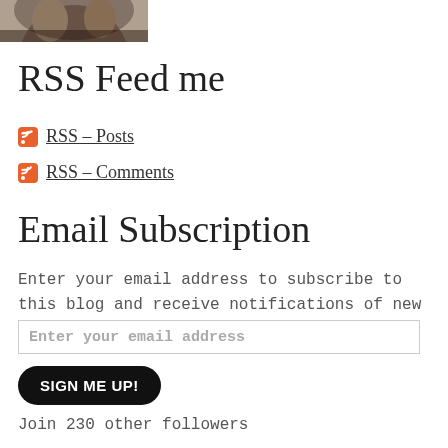[Figure (photo): Cropped photo of a person, partially visible at the top of the page]
RSS Feed me
RSS - Posts
RSS - Comments
Email Subscription
Enter your email address to subscribe to this blog and receive notifications of new posts by email.
Enter your email address
SIGN ME UP!
Join 230 other followers